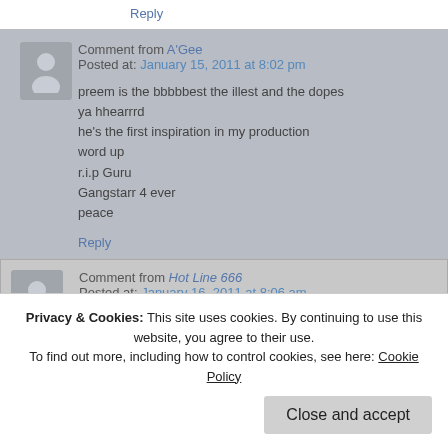Reply
Comment from A'Gee
Posted at: January 15, 2011 at 8:02 pm

preem is the bbbbbest the illest and the dopes
ya hhearrrd
he's the first inspiration in my production
word up
r.i.p Guru
Gangstarr 4 ever
peace
Reply
Comment from Hot Line 666
Posted at: January 16, 2011 at 8:06 am

@AMAru
Damn man sorry but i really think that beat sucks.
What i can't understand if for example No Surrender no Retreat beat,
ppl a lotta ppl say that on sucks.. i love that! also luv truck turner joints, a
Privacy & Cookies: This site uses cookies. By continuing to use this website, you agree to their use.
To find out more, including how to control cookies, see here: Cookie Policy
Close and accept